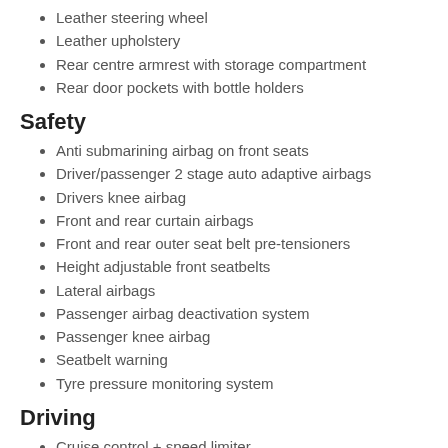Leather steering wheel
Leather upholstery
Rear centre armrest with storage compartment
Rear door pockets with bottle holders
Safety
Anti submarining airbag on front seats
Driver/passenger 2 stage auto adaptive airbags
Drivers knee airbag
Front and rear curtain airbags
Front and rear outer seat belt pre-tensioners
Height adjustable front seatbelts
Lateral airbags
Passenger airbag deactivation system
Passenger knee airbag
Seatbelt warning
Tyre pressure monitoring system
Driving
Cruise control + speed limiter
Front and rear parking sensors
Hill hold assist
Rear view camera